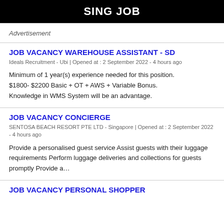SING JOB
Advertisement
JOB VACANCY WAREHOUSE ASSISTANT - SD
Ideals Recruitment - Ubi | Opened at : 2 September 2022 - 4 hours ago
Minimum of 1 year(s) experience needed for this position. $1800- $2200 Basic + OT + AWS + Variable Bonus. Knowledge in WMS System will be an advantage.
JOB VACANCY CONCIERGE
SENTOSA BEACH RESORT PTE LTD - Singapore | Opened at : 2 September 2022 - 4 hours ago
Provide a personalised guest service Assist guests with their luggage requirements Perform luggage deliveries and collections for guests promptly Provide a…
JOB VACANCY PERSONAL SHOPPER